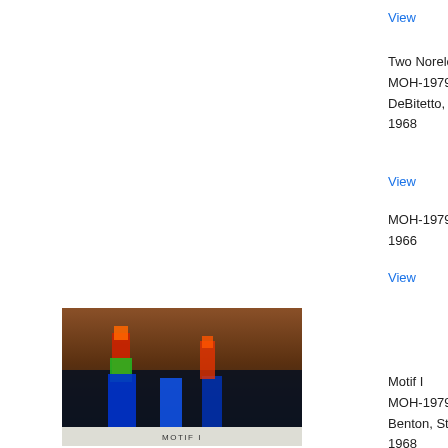View
Two Norelco ra
MOH-1979.05
DeBitetto, Dom
1968
View
MOH-1979.06
1966
View
[Figure (photo): Hologram titled Motif I showing colorful laser holographic image with blue and red/green flame-like forms on dark background, label at bottom reads MOTIF I]
Motif I
MOH-1979.07.0
Benton, Stephe
1968
View
[Figure (photo): Photo of an artwork or object titled Dragon, partially visible at bottom of page]
Dragon
MOH-1979.08.0
Linosch, Salva…